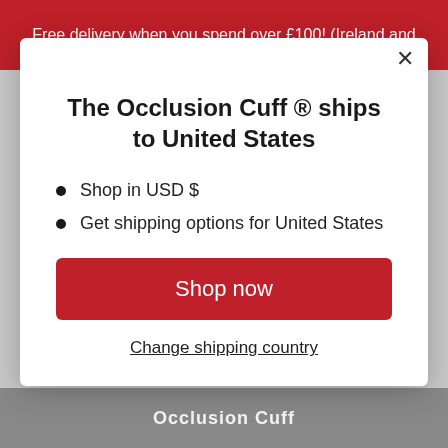Free delivery when you spend over £100! (Ireland and
The Occlusion Cuff ® ships to United States
Shop in USD $
Get shipping options for United States
Shop now
Change shipping country